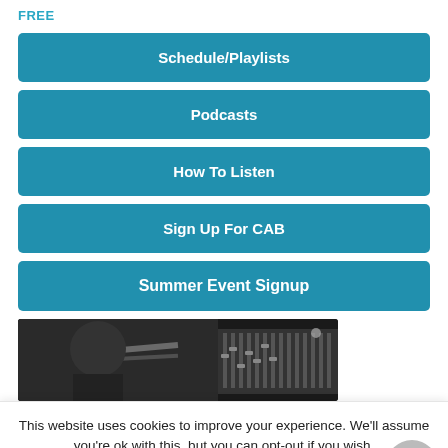FREE
Schedule/Playlists
Podcasts
How To Listen
Sign Up For CAB
Summer Event Signup
[Figure (photo): Black and white photo of a person silhouette with a mixing board/audio equipment in the background]
This website uses cookies to improve your experience. We'll assume you're ok with this, but you can opt-out if you wish.
Cookie settings   ACCEPT   Reject